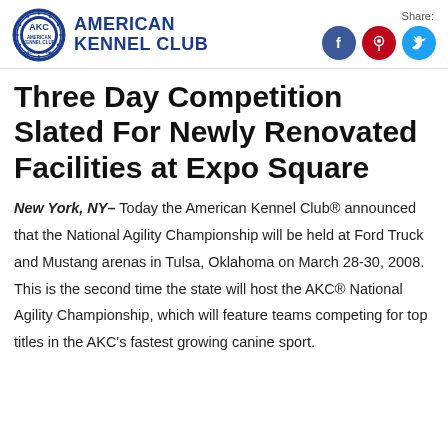American Kennel Club — Share: [Facebook] [Pinterest] [Twitter]
Three Day Competition Slated For Newly Renovated Facilities at Expo Square
New York, NY– Today the American Kennel Club® announced that the National Agility Championship will be held at Ford Truck and Mustang arenas in Tulsa, Oklahoma on March 28-30, 2008.  This is the second time the state will host the AKC® National Agility Championship, which will feature teams competing for top titles in the AKC's fastest growing canine sport.